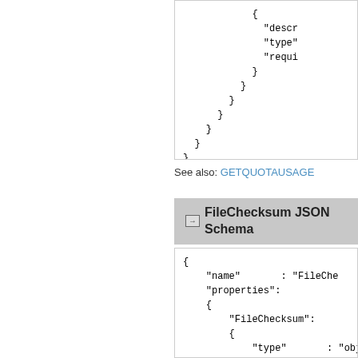[Figure (screenshot): Code box showing closing braces of a nested JSON structure, stairstepping diagonally from top-right to bottom-left: }, }, }, }, }, }, }]
See also: GETQUOTAUSAGE
FileChecksum JSON Schema
[Figure (screenshot): Code box showing beginning of FileChecksum JSON schema: { "name" : "FileChe... "properties": { "FileChecksum": { "type" : "obj... "propertie...]